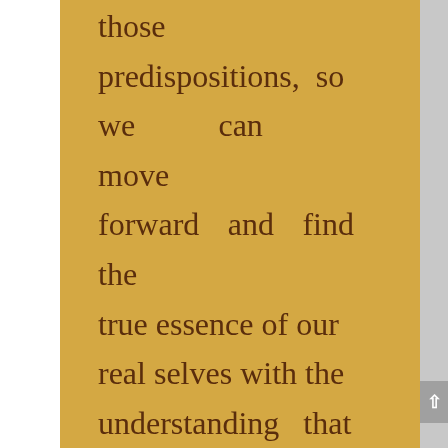those predispositions, so we can move forward and find the true essence of our real selves with the understanding that [God] is the emerging source of life itself, which is